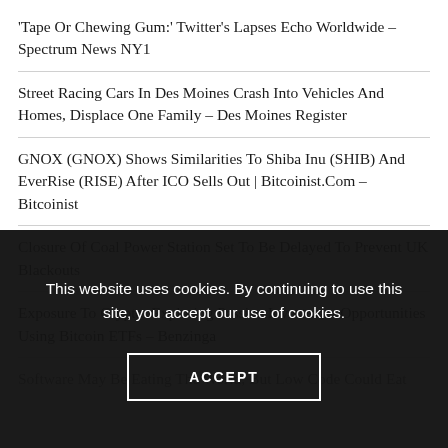'Tape Or Chewing Gum:' Twitter's Lapses Echo Worldwide – Spectrum News NY1
Street Racing Cars In Des Moines Crash Into Vehicles And Homes, Displace One Family – Des Moines Register
GNOX (GNOX) Shows Similarities To Shiba Inu (SHIB) And EverRise (RISE) After ICO Sells Out | Bitcoinist.Com – Bitcoinist
Closure Of Coal Power Station Set To Be Delayed To Prevent UK Blackouts
Exposure To Crypto: Exploring Passive Investment Opportunities Using Bitcoin ETFs – Benzinga
Software May Be Eating The World, But Low Code Could Eat
This website uses cookies. By continuing to use this site, you accept our use of cookies.
ACCEPT